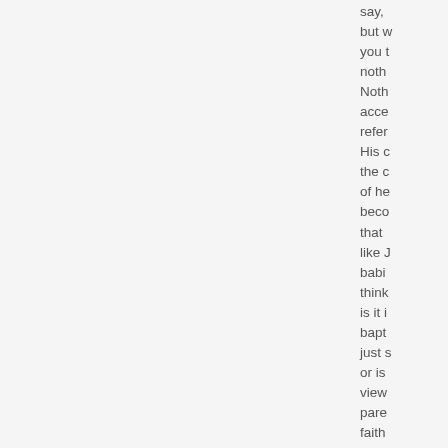say, but w you t noth Noth acce refer His c the c of he beco that like J babi think is it i bapt just s or is view pare faith child